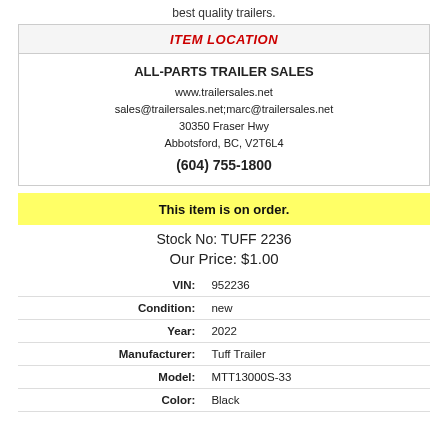best quality trailers.
ITEM LOCATION
ALL-PARTS TRAILER SALES
www.trailersales.net
sales@trailersales.net;marc@trailersales.net
30350 Fraser Hwy
Abbotsford, BC, V2T6L4
(604) 755-1800
This item is on order.
Stock No: TUFF 2236
Our Price: $1.00
| Field | Value |
| --- | --- |
| VIN: | 952236 |
| Condition: | new |
| Year: | 2022 |
| Manufacturer: | Tuff Trailer |
| Model: | MTT13000S-33 |
| Color: | Black |